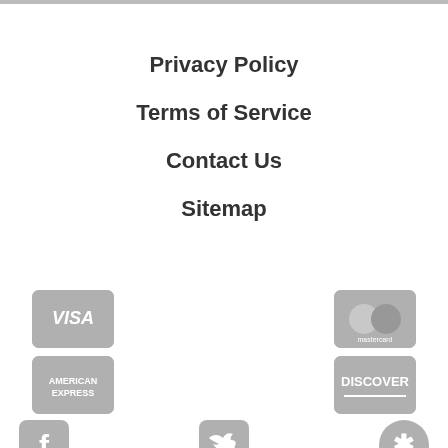Privacy Policy
Terms of Service
Contact Us
Sitemap
[Figure (logo): Visa credit card logo (grayscale)]
[Figure (logo): Mastercard credit card logo (grayscale)]
[Figure (logo): American Express credit card logo (grayscale)]
[Figure (logo): Discover credit card logo (grayscale)]
[Figure (logo): Facebook social media icon (grayscale)]
[Figure (logo): Twitter social media icon (grayscale)]
[Figure (logo): Yelp social media icon (grayscale)]